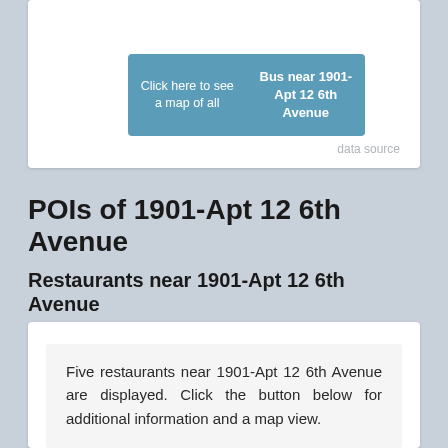[Figure (screenshot): A teal/blue button with two sections: left says 'Click here to see a map of all' and right says 'Bus near 1901-Apt 12 6th Avenue' in bold]
data source
POIs of 1901-Apt 12 6th Avenue
Restaurants near 1901-Apt 12 6th Avenue
Five restaurants near 1901-Apt 12 6th Avenue are displayed. Click the button below for additional information and a map view.